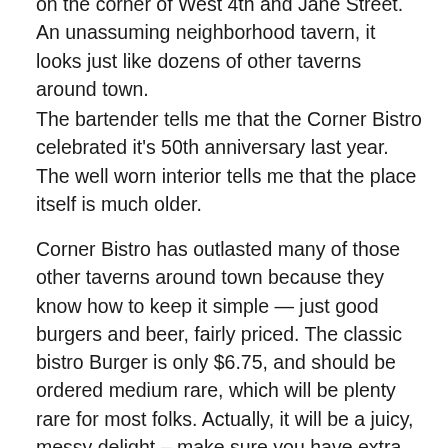on the corner of West 4th and Jane Street. An unassuming neighborhood tavern, it looks just like dozens of other taverns around town.
The bartender tells me that the Corner Bistro celebrated it's 50th anniversary last year. The well worn interior tells me that the place itself is much older.
Corner Bistro has outlasted many of those other taverns around town because they know how to keep it simple — just good burgers and beer, fairly priced. The classic bistro Burger is only $6.75, and should be ordered medium rare, which will be plenty rare for most folks. Actually, it will be a juicy, messy delight – make sure you have extra napkins. I like to pull up a stool and sit by the large front window in the afternoon, where I can rest my burger and beer on the shelf, and watch the Villagers walk by.